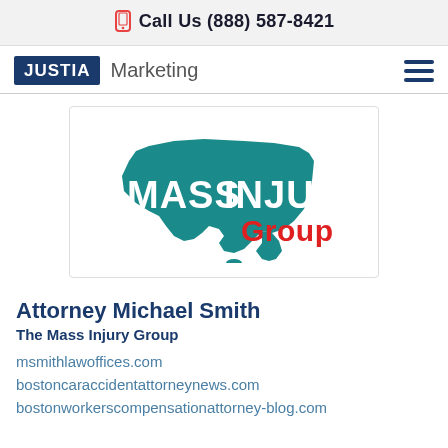Call Us (888) 587-8421
[Figure (logo): Justia Marketing logo with hamburger menu]
[Figure (logo): Mass Injury Group logo — teal Massachusetts state outline with white bold text MASS INJURY and red Group]
Attorney Michael Smith
The Mass Injury Group
msmithlawoffices.com
bostoncaraccidentattorneynews.com
bostonworkerscompensationattorney-blog.com